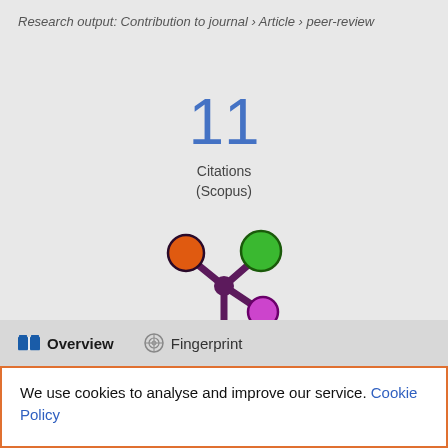Research output: Contribution to journal › Article › peer-review
11
Citations
(Scopus)
[Figure (logo): Altmetric / Pure logo: stylized molecule icon with orange, green, and purple circles connected by dark purple arms]
Overview
Fingerprint
We use cookies to analyse and improve our service. Cookie Policy